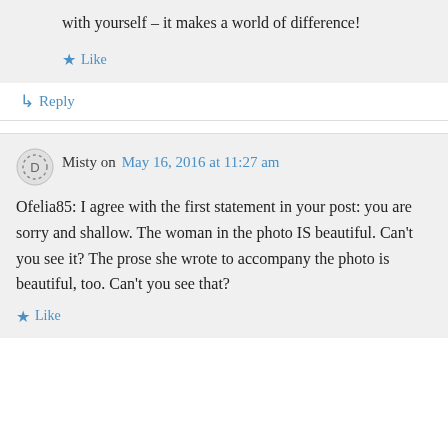with yourself – it makes a world of difference!
Like
Reply
Misty on May 16, 2016 at 11:27 am
Ofelia85: I agree with the first statement in your post: you are sorry and shallow. The woman in the photo IS beautiful. Can't you see it? The prose she wrote to accompany the photo is beautiful, too. Can't you see that?
Like